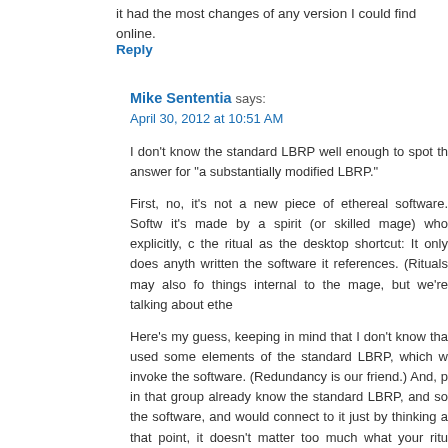it had the most changes of any version I could find online.
Reply
Mike Sententia says:
April 30, 2012 at 10:51 AM
I don't know the standard LBRP well enough to spot the answer for "a substantially modified LBRP."
First, no, it's not a new piece of ethereal software. Softw... it's made by a spirit (or skilled mage) who explicitly, c... the ritual as the desktop shortcut: It only does anyth... written the software it references. (Rituals may also fo... things internal to the mage, but we're talking about ethe...
Here's my guess, keeping in mind that I don't know tha... used some elements of the standard LBRP, which w... invoke the software. (Redundancy is our friend.) And, p... in that group already know the standard LBRP, and so ... the software, and would connect to it just by thinking a... that point, it doesn't matter too much what your ritu... instructions to the software just based on your intent. Th... connect to other people working with you, so as long... familiar with the ethereal software, it will quickly get con... a few sessions, everyone will be connecting to the soft... its signature (the feel of the energy and connections... based on anything particular within the ritual itself... speculation. I've seen individual pieces of ethereal sof... described, but haven't tested the particular software...